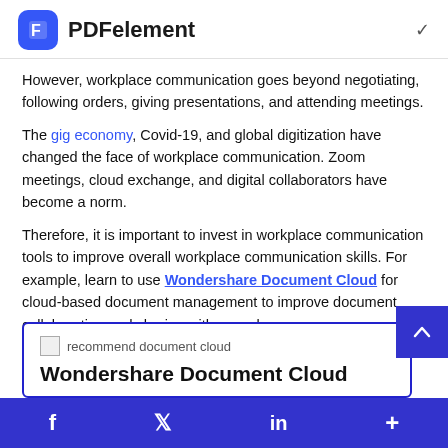PDFelement
However, workplace communication goes beyond negotiating, following orders, giving presentations, and attending meetings.
The gig economy, Covid-19, and global digitization have changed the face of workplace communication. Zoom meetings, cloud exchange, and digital collaborators have become a norm.
Therefore, it is important to invest in workplace communication tools to improve overall workplace communication skills. For example, learn to use Wondershare Document Cloud for cloud-based document management to improve document collaboration and sharing with coworkers.
[Figure (other): Recommend box for Wondershare Document Cloud with logo image placeholder and bold title text]
Wondershare Document Cloud